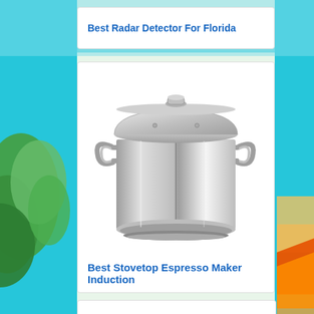[Figure (illustration): Tropical beach background with green palm leaves on the left, blue sky and ocean in the middle, and sandy beach with orange/tan tones on the right]
Best Radar Detector For Florida
[Figure (photo): A large stainless steel stock pot with lid and two side handles, polished silver finish, photographed on white background]
Best Stovetop Espresso Maker Induction